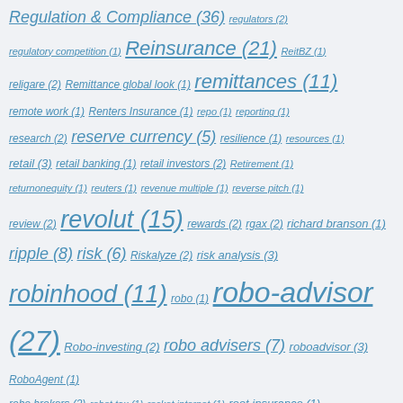[Figure (other): Tag cloud of finance-related topics with hyperlinks. Tags are displayed in varying font sizes proportional to their frequency counts. All links are in italic blue underlined style on a light gray background.]